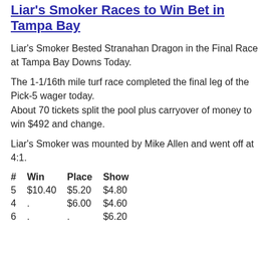Liar's Smoker Races to Win Bet in Tampa Bay
Liar's Smoker Bested Stranahan Dragon in the Final Race at Tampa Bay Downs Today.
The 1-1/16th mile turf race completed the final leg of the Pick-5 wager today.
About 70 tickets split the pool plus carryover of money to win $492 and change.
Liar's Smoker was mounted by Mike Allen and went off at 4:1.
| # | Win | Place | Show |
| --- | --- | --- | --- |
| 5 | $10.40 | $5.20 | $4.80 |
| 4 | . | $6.00 | $4.60 |
| 6 | . | . | $6.20 |